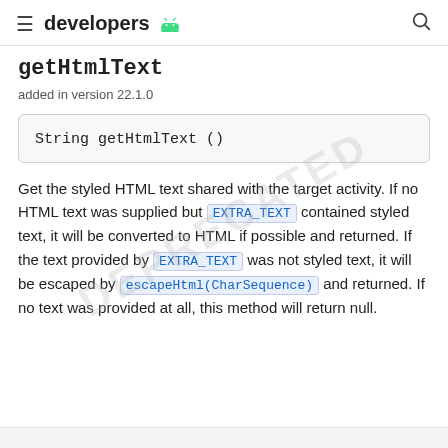≡ developers 🤖 🔍
getHtmlText
added in version 22.1.0
Get the styled HTML text shared with the target activity. If no HTML text was supplied but EXTRA_TEXT contained styled text, it will be converted to HTML if possible and returned. If the text provided by EXTRA_TEXT was not styled text, it will be escaped by escapeHtml(CharSequence) and returned. If no text was provided at all, this method will return null.